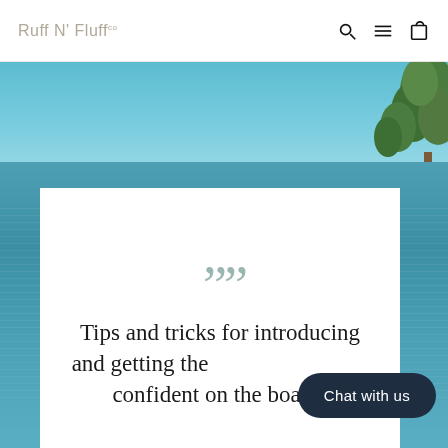Ruff N' Fluff Co
[Figure (screenshot): A waterfront scene with blue sky, trees on the right, and rippling water, serving as hero background image for a pet blog article.]
" "
Tips and tricks for introducing and getting the [dog] confident on the board!
Chat with us